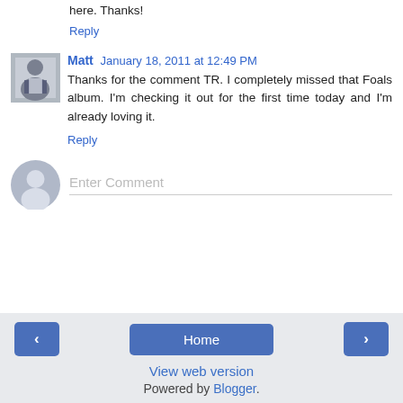here. Thanks!
Reply
Matt  January 18, 2011 at 12:49 PM
Thanks for the comment TR. I completely missed that Foals album. I'm checking it out for the first time today and I'm already loving it.
Reply
Enter Comment
Home | View web version | Powered by Blogger.